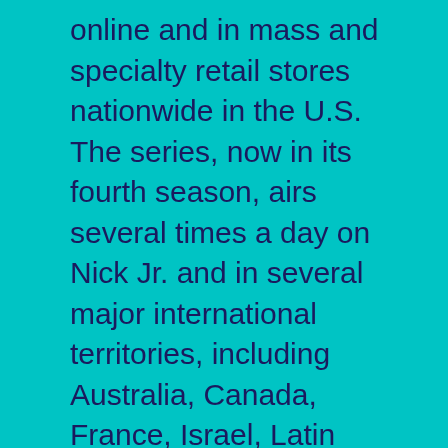online and in mass and specialty retail stores nationwide in the U.S. The series, now in its fourth season, airs several times a day on Nick Jr. and in several major international territories, including Australia, Canada, France, Israel, Latin America, New Zealand, South Africa and the U.K. Visit www.yogabbagabba.com.
ABOUT ORLANDO VENUES
Since 1989, Orlando Venues has served as Central Florida's epicenter of sports and live entertainment. Orlando Venues